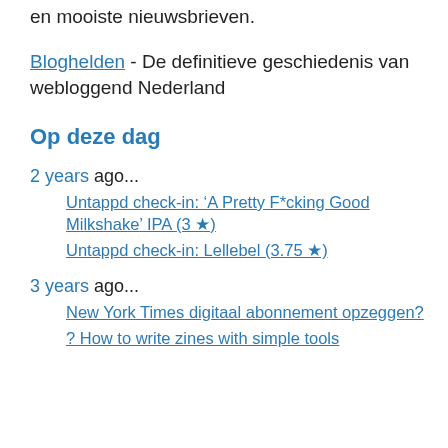en mooiste nieuwsbrieven.
Bloghelden - De definitieve geschiedenis van webloggend Nederland
Op deze dag
2 years ago...
Untappd check-in: ‘A Pretty F*cking Good Milkshake’ IPA (3 ★)
Untappd check-in: Lellebel (3.75 ★)
3 years ago...
New York Times digitaal abonnement opzeggen?
? How to write zines with simple tools